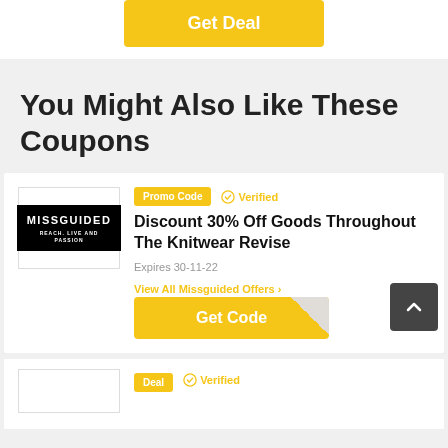[Figure (other): Get Deal button (yellow/gold colored button)]
You Might Also Like These Coupons
[Figure (other): Missguided logo in a white bordered box, black background with white text MISSGUIDED]
Promo Code  ✓ Verified
Discount 30% Off Goods Throughout The Knitwear Revise
Expires 30-11-22
View All Missguided Offers >
[Figure (other): Get Code button (yellow/gold) with corner fold, and back-to-top dark button with arrow]
Deal  ✓ Verified